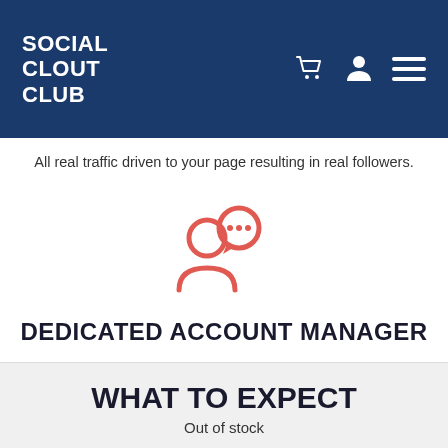SOCIAL CLOUT CLUB
All real traffic driven to your page resulting in real followers.
[Figure (illustration): Red/salmon colored icon of a person silhouette with a speech/chat bubble containing three dots (ellipsis), indicating a dedicated account manager]
DEDICATED ACCOUNT MANAGER
Expert support & service so you can grow with confidence & ease.
WHAT TO EXPECT
Out of stock